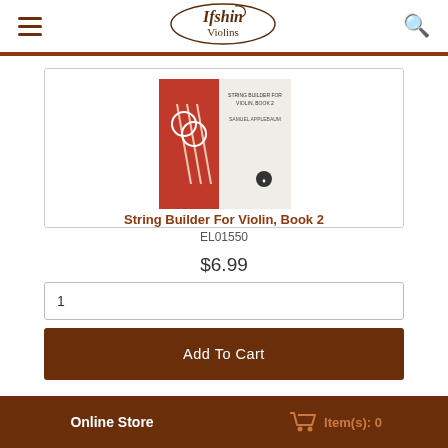Ifshin Violins
[Figure (photo): String Builder For Violin Book 2 cover - red/orange book with violin strings illustration]
String Builder For Violin, Book 2
EL01550
$6.99
1
Add To Cart
[Figure (photo): Partial view of another product - Two Violas Volume II book cover]
Online Store    Item(s): 0